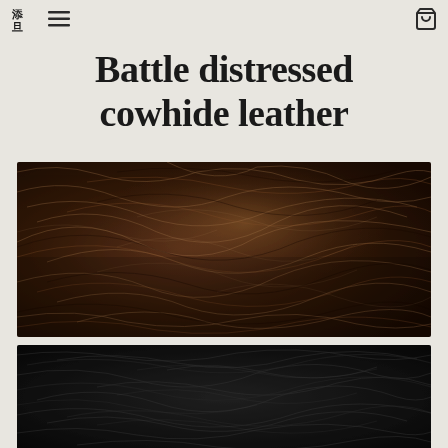[Logo] ≡  [Cart icon]
Battle distressed cowhide leather
[Figure (photo): Close-up photograph of brown distressed cowhide leather texture with veined, cracked surface pattern in dark brown tones]
[Figure (photo): Close-up photograph of black distressed cowhide leather texture with cracked, crinkled surface pattern]